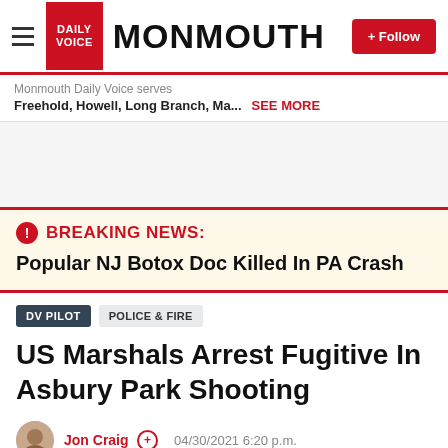DAILY VOICE MONMOUTH
Monmouth Daily Voice serves
Freehold, Howell, Long Branch, Ma... SEE MORE
[Figure (other): Advertisement / blank area]
BREAKING NEWS: Popular NJ Botox Doc Killed In PA Crash
DV PILOT  POLICE & FIRE
US Marshals Arrest Fugitive In Asbury Park Shooting
Jon Craig  04/30/2021 6:20 p.m.